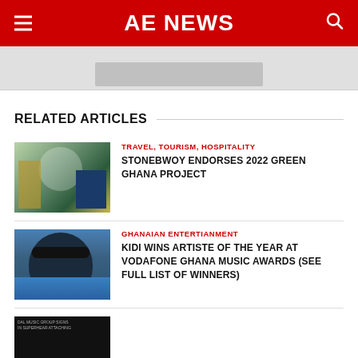AE NEWS
[Figure (photo): Partial banner image area at top below header]
RELATED ARTICLES
[Figure (photo): Photo of a person receiving a green jersey from an official in a suit, with Ghana coat of arms in background]
TRAVEL, TOURISM, HOSPITALITY
STONEBWOY ENDORSES 2022 GREEN GHANA PROJECT
[Figure (photo): Photo of a young man wearing sunglasses and a blue patterned shirt against a dotted background]
GHANAIAN ENTERTIANMENT
KIDI WINS ARTISTE OF THE YEAR AT VODAFONE GHANA MUSIC AWARDS (SEE FULL LIST OF WINNERS)
[Figure (photo): Partial thumbnail of a dark image with text overlay, partially visible at bottom of page]